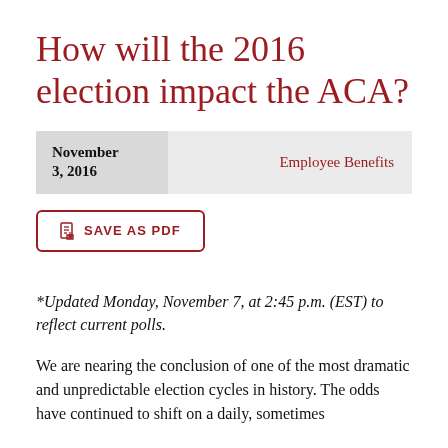How will the 2016 election impact the ACA?
| Date | Category |
| --- | --- |
| November 3, 2016 | Employee Benefits |
SAVE AS PDF
*Updated Monday, November 7, at 2:45 p.m. (EST) to reflect current polls.
We are nearing the conclusion of one of the most dramatic and unpredictable election cycles in history. The odds have continued to shift on a daily, sometimes